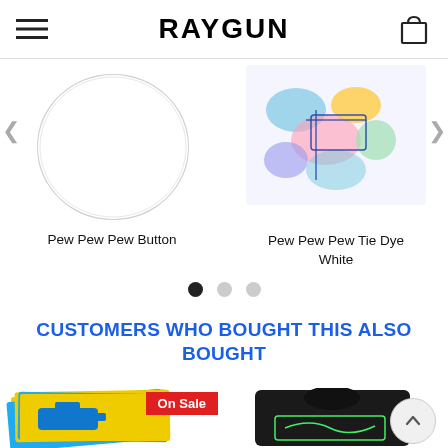RAYGUN
[Figure (photo): Partial view of Pew Pew Pew Button product - white circular button on white background]
Pew Pew Pew Button
[Figure (photo): Partial view of Pew Pew Pew Tie Dye White product - colorful tie dye pattern]
Pew Pew Pew Tie Dye White
CUSTOMERS WHO BOUGHT THIS ALSO BOUGHT
[Figure (photo): On Sale - sticker/card product with yellow and blue raygun graphic, with red On Sale badge]
[Figure (photo): Black sleeveless shirt with green outline graphic]